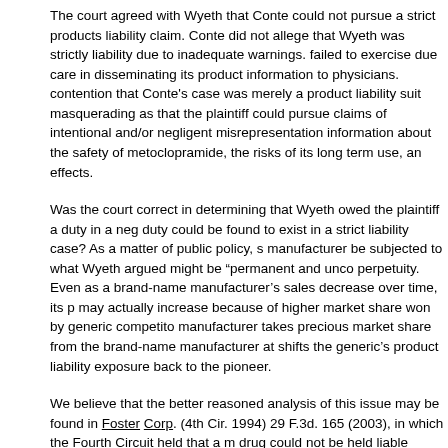The court agreed with Wyeth that Conte could not pursue a strict products liability claim. Conte did not allege that Wyeth was strictly liability due to inadequate warnings. failed to exercise due care in disseminating its product information to physicians. contention that Conte's case was merely a product liability suit masquerading as that the plaintiff could pursue claims of intentional and/or negligent misrepresentation information about the safety of metoclopramide, the risks of its long term use, and effects.
Was the court correct in determining that Wyeth owed the plaintiff a duty in a negligence duty could be found to exist in a strict liability case? As a matter of public policy, should a manufacturer be subjected to what Wyeth argued might be "permanent and unco" perpetuity. Even as a brand-name manufacturer's sales decrease over time, its potential liability may actually increase because of higher market share won by generic competitors. manufacturer takes precious market share from the brand-name manufacturer at shifts the generic's product liability exposure back to the pioneer.
We believe that the better reasoned analysis of this issue may be found in Foster v. American Home Products Corp. (4th Cir. 1994) 29 F.3d. 165 (2003), in which the Fourth Circuit held that a manufacturer of a brand-name drug could not be held liable under a theory of negligent representation for an injury caused by the generic version of the drug. Taken to its logical extreme, in the brave new world of generic drugs, it may not matter that a plaintiff cannot identify the manufacturer of a product that caused injury, so long as the plaintiff can plausibly claim to have relied on some other manufacturer's